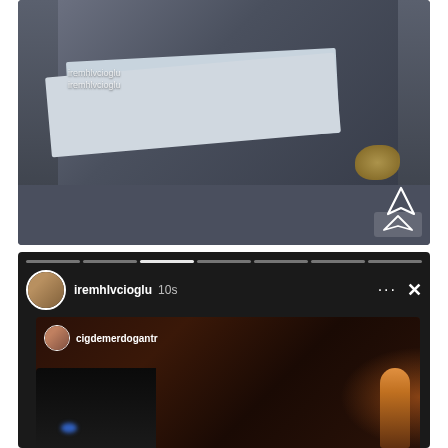[Figure (screenshot): Instagram or social media screenshot showing two people at a table with papers/documents, dark blue overlay background, with a send/share icon in the bottom right corner and gold decorative element.]
[Figure (screenshot): Instagram story screenshot showing username 'iremhlvcioglu' with '10s' timer, three dots menu and X close button. Story progress bars at top. Inner story shows a reshared story from 'cigdemerdogantr' with a dark indoor scene with warm/orange lighting.]